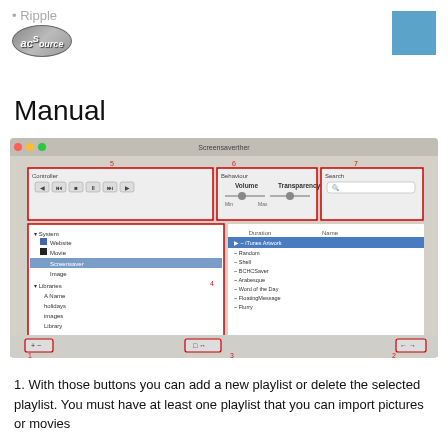• Ripple [logo: acsource]
Manual
[Figure (screenshot): Screenshot of Screensaverther application window showing Controller (section 5), Behaviour (section 6), Search (section 7) panels at top, a playlist panel (section 4) on the left with System, Website, Movie, Screensaver, Image, Libraries, A Name, holidays, images, library items, and a content list on the right showing iTunes Artwork (selected), Random, Shell, BCHCSaver, Arabesque, Word of the Day, FloatingMessage, Flurry. Bottom bar shows add/remove buttons (1), playback controls (3), and navigation buttons (2).]
With those buttons you can add a new playlist or delete the selected playlist. You must have at least one playlist that you can import pictures or movies